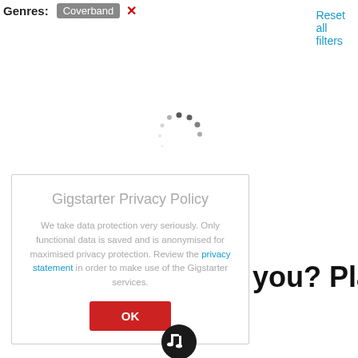Genres: Coverband ✕
Reset all filters
[Figure (other): Loading spinner (animated dots in arc pattern)]
Gigstarter Privacy Policy
We take data protection very seriously. Only functional data is saved and is anonymised for maximised privacy protection. Review the privacy statement in order to make use of the Gigstarter services.
OK
you? Place a
[Figure (logo): Gigstarter logo — music note icon in dark circle]